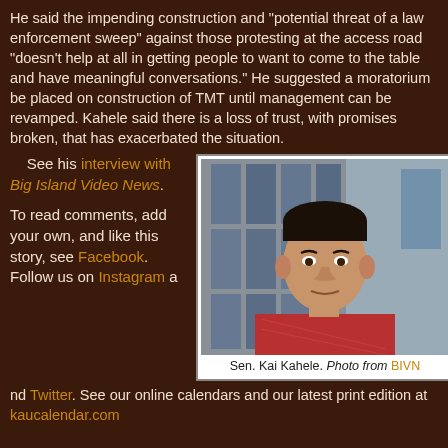He said the impending construction and "potential threat of a law enforcement sweep" against those protesting at the access road "doesn't help at all in getting people to want to come to the table and have meaningful conversations." He suggested a moratorium be placed on construction of TMT until management can be revamped. Kahele said there is a loss of trust, with promises broken, that has exacerbated the situation.
See his interview with Big Island Video News.
[Figure (photo): Portrait photo of Sen. Kai Kahele standing in front of a building with windows, wearing a red patterned shirt.]
Sen. Kai Kahele. Photo from BIVN
To read comments, add your own, and like this story, see Facebook. Follow us on Instagram and Twitter. See our online calendars and our latest print edition at kaucalendar.com